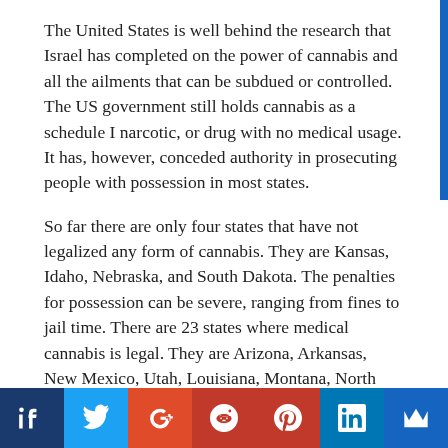The United States is well behind the research that Israel has completed on the power of cannabis and all the ailments that can be subdued or controlled. The US government still holds cannabis as a schedule I narcotic, or drug with no medical usage. It has, however, conceded authority in prosecuting people with possession in most states.
So far there are only four states that have not legalized any form of cannabis. They are Kansas, Idaho, Nebraska, and South Dakota. The penalties for possession can be severe, ranging from fines to jail time. There are 23 states where medical cannabis is legal. They are Arizona, Arkansas, New Mexico, Utah, Louisiana, Montana, North Dakota, Oklahoma, Missouri, Iowa, New Jersey, Maryland, Minnesota, New Hampshire, New York, Ohio, Pennsylvania, Rhode Island, Florida, West Virginia, and Hawaii.